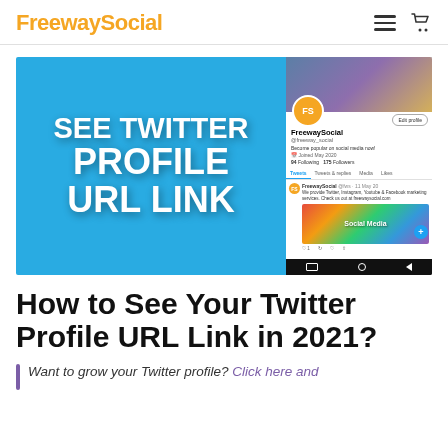FreewaySocial
[Figure (screenshot): Promotional image with text 'SEE TWITTER PROFILE URL LINK' on a blue background on the left, and a screenshot of the FreewaySocial Twitter/X profile on a mobile phone on the right.]
How to See Your Twitter Profile URL Link in 2021?
Want to grow your Twitter profile? Click here and